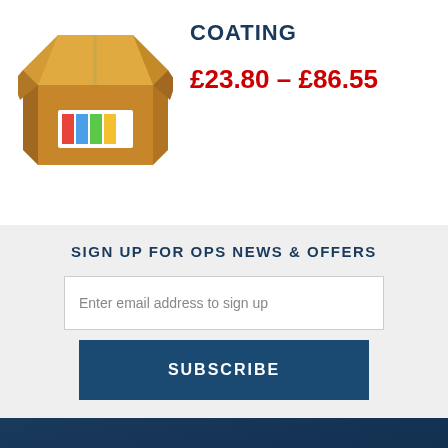[Figure (illustration): Open cardboard box with a label on the front side]
COATING
£23.80 – £86.55
SIGN UP FOR OPS NEWS & OFFERS
Enter email address to sign up
SUBSCRIBE
[Figure (illustration): Fan of color swatches in a rainbow spectrum on dark blue background]